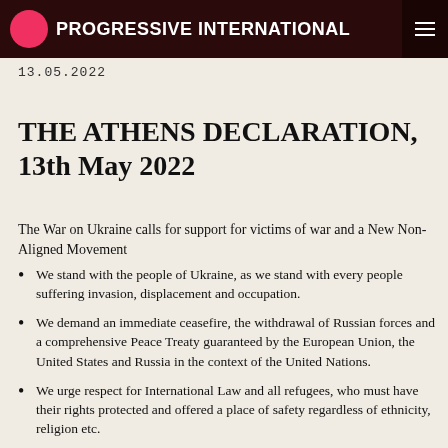PROGRESSIVE INTERNATIONAL
13.05.2022
THE ATHENS DECLARATION, 13th May 2022
The War on Ukraine calls for support for victims of war and a New Non-Aligned Movement
We stand with the people of Ukraine, as we stand with every people suffering invasion, displacement and occupation.
We demand an immediate ceasefire, the withdrawal of Russian forces and a comprehensive Peace Treaty guaranteed by the European Union, the United States and Russia in the context of the United Nations.
We urge respect for International Law and all refugees, who must have their rights protected and offered a place of safety regardless of ethnicity, religion etc.